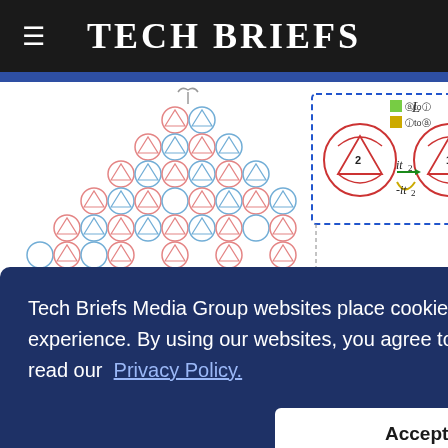Tech Briefs
[Figure (schematic): Scientific diagram showing triangular lattice structures with red and blue nodes connected by lines, dashed bounding boxes, arrows indicating hopping parameters it2 and -it2, and a legend showing direction indicators. Labels include L, it2, -it2, and t1.]
Tech Briefs Media Group websites place cookies on your device to give you the best user experience. By using our websites, you agree to the placement of these cookies. To learn more, read our Privacy Policy.
Accept & Continue